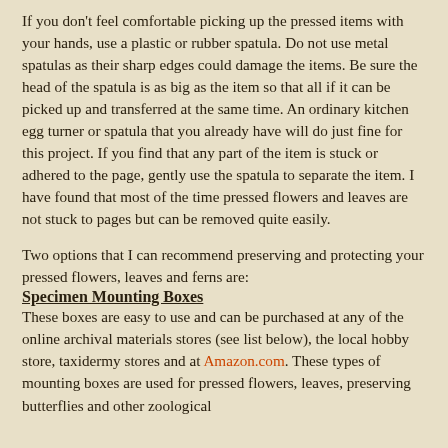If you don't feel comfortable picking up the pressed items with your hands, use a plastic or rubber spatula. Do not use metal spatulas as their sharp edges could damage the items. Be sure the head of the spatula is as big as the item so that all if it can be picked up and transferred at the same time. An ordinary kitchen egg turner or spatula that you already have will do just fine for this project. If you find that any part of the item is stuck or adhered to the page, gently use the spatula to separate the item. I have found that most of the time pressed flowers and leaves are not stuck to pages but can be removed quite easily.
Two options that I can recommend preserving and protecting your pressed flowers, leaves and ferns are:
Specimen Mounting Boxes
These boxes are easy to use and can be purchased at any of the online archival materials stores (see list below), the local hobby store, taxidermy stores and at Amazon.com. These types of mounting boxes are used for pressed flowers, leaves, preserving butterflies and other zoological